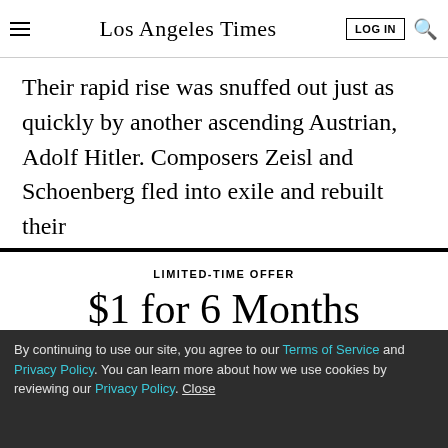Los Angeles Times
Their rapid rise was snuffed out just as quickly by another ascending Austrian, Adolf Hitler. Composers Zeisl and Schoenberg fled into exile and rebuilt their
LIMITED-TIME OFFER
$1 for 6 Months
SUBSCRIBE NOW
By continuing to use our site, you agree to our Terms of Service and Privacy Policy. You can learn more about how we use cookies by reviewing our Privacy Policy. Close